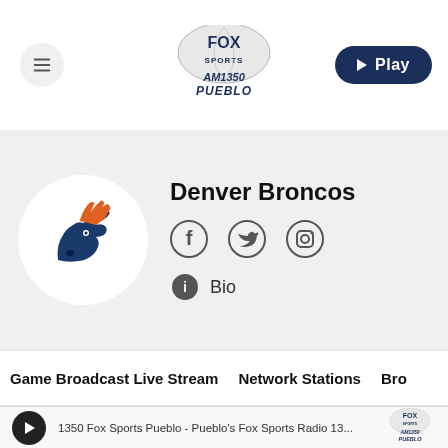[Figure (logo): Fox Sports AM1350 Pueblo radio station logo in header]
[Figure (logo): Denver Broncos team logo in circular white background]
Denver Broncos
[Figure (infographic): Social media icons: Facebook, Twitter, Instagram]
Bio
Game Broadcast Live Stream   Network Stations   Bro
1350 Fox Sports Pueblo - Pueblo's Fox Sports Radio 13...